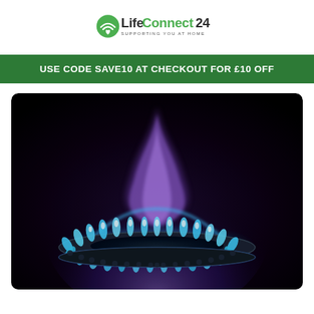[Figure (logo): LifeConnect24 logo with heart/wifi icon and tagline 'SUPPORTING YOU AT HOME']
USE CODE SAVE10 AT CHECKOUT FOR £10 OFF
[Figure (photo): Close-up photograph of a gas hob burner with blue and purple flames against a dark background]